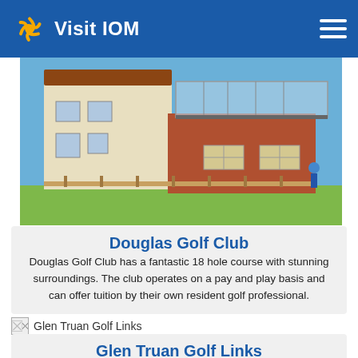Visit IOM
[Figure (photo): Photo of Douglas Golf Club building — a two-storey cream and brick clubhouse with a balcony, green railings, and a fence in the foreground on a sunny day.]
Douglas Golf Club
Douglas Golf Club has a fantastic 18 hole course with stunning surroundings. The club operates on a pay and play basis and can offer tuition by their own resident golf professional.
[Figure (photo): Broken image placeholder for Glen Truan Golf Links photo.]
Glen Truan Golf Links
Glen Truan Golf Links has a 18 hole course with spectacular scenery with views across the Irish Sea and Scotland. This is